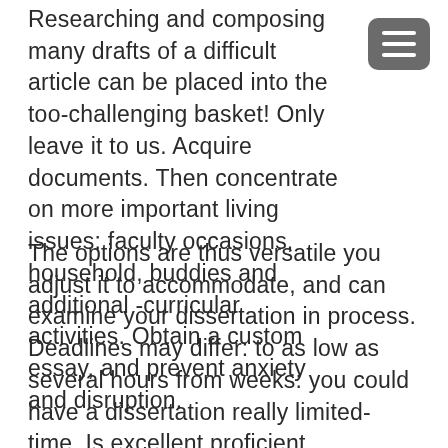Researching and composing many drafts of a difficult article can be placed into the too-challenging basket! Only leave it to us. Acquire documents. Then concentrate on more important living issues: faculty occasions, household, buddies and additional -curricular activities. Obtain a custom essay, and prevent anxiety and disruption.
The options are thus versatile you adjust it to accommodate, and can examine your dissertation in process. Deadlines may differ: to as low as several hours from weeks: you could have a dissertation really limited-time. Is excellent proficient vocabulary a problem? Purchase documents online from us to fix that problem. We utilize capable overseas writers who've undergone many necessary assessments in the enrollment process to ensure they are not unready to not develop low